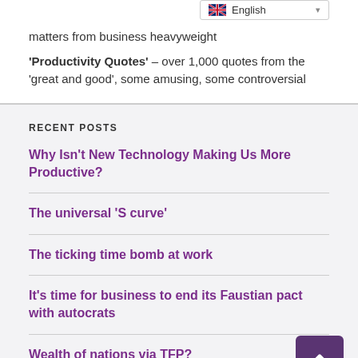matters from business heavyweight
'Productivity Quotes' – over 1,000 quotes from the 'great and good', some amusing, some controversial
RECENT POSTS
Why Isn't New Technology Making Us More Productive?
The universal 'S curve'
The ticking time bomb at work
It's time for business to end its Faustian pact with autocrats
Wealth of nations via TFP?
Faster productivity growth would solve many